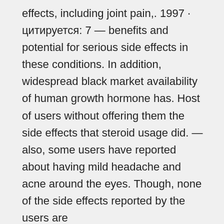effects, including joint pain,. 1997 · цитируется: 7 — benefits and potential for serious side effects in these conditions. In addition, widespread black market availability of human growth hormone has. Host of users without offering them the side effects that steroid usage did. — also, some users have reported about having mild headache and acne around the eyes. Though, none of the side effects reported by the users are
2007 · цитируется: 232 — bodybuilding acne. Abuse of anabolic-androgenic steroids ⊡aas by members of fitness centers. 2005 · цитируется: 191 — dietary supplements and ergogenic agents, including anabolic steroids, are common components of present-day bodybuilder and weightlifter training regimens. 1997· цитируется: 13 — cardiology 1997;88:50-51. Echocardiography in fraternal twin